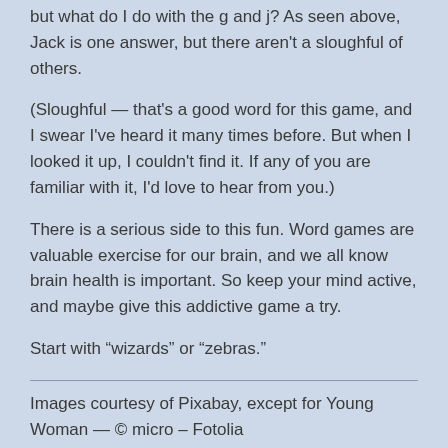but what do I do with the g and j? As seen above, Jack is one answer, but there aren't a sloughful of others.
(Sloughful — that's a good word for this game, and I swear I've heard it many times before. But when I looked it up, I couldn't find it. If any of you are familiar with it, I'd love to hear from you.)
There is a serious side to this fun. Word games are valuable exercise for our brain, and we all know brain health is important. So keep your mind active, and maybe give this addictive game a try.
Start with “wizards” or “zebras.”
Images courtesy of Pixabay, except for Young Woman — © micro – Fotolia